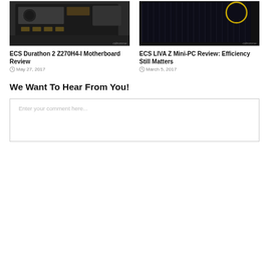[Figure (photo): ECS Durathon 2 Z270H4-I Motherboard photo - dark circuit board with components]
[Figure (photo): ECS LIVA Z Mini-PC photo - dark compact mini PC with textured surface and yellow ring logo]
ECS Durathon 2 Z270H4-I Motherboard Review
May 27, 2017
ECS LIVA Z Mini-PC Review: Efficiency Still Matters
March 5, 2017
We Want To Hear From You!
Enter your comment here...